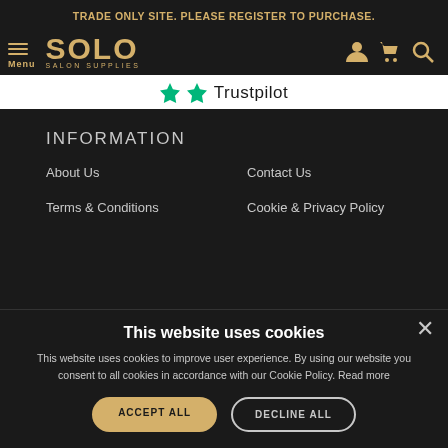TRADE ONLY SITE. PLEASE REGISTER TO PURCHASE.
[Figure (logo): Solo Salon Supplies logo with hamburger menu and Menu text on left, icons (user, cart, search) on right]
[Figure (logo): Trustpilot logo with green star]
INFORMATION
About Us
Contact Us
Terms & Conditions
Cookie & Privacy Policy
This website uses cookies
This website uses cookies to improve user experience. By using our website you consent to all cookies in accordance with our Cookie Policy. Read more
ACCEPT ALL
DECLINE ALL